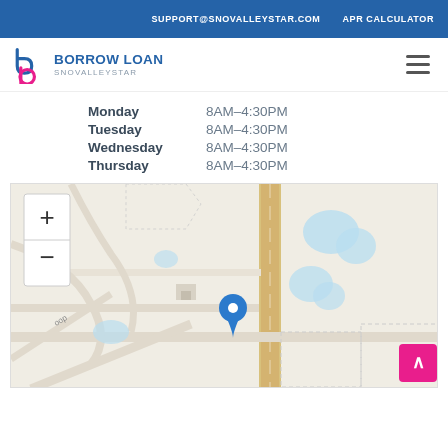SUPPORT@SNOVALLEYSTAR.COM   APR CALCULATOR
[Figure (logo): Borrow Loan SnoValleyStar logo with stylized b/p icon in pink/blue]
Monday    8AM–4:30PM
Tuesday   8AM–4:30PM
Wednesday 8AM–4:30PM
Thursday  8AM–4:30PM
[Figure (map): Street map showing location pin on a road with zoom controls, beige background with blue water features and a vertical road (tan/yellow)]